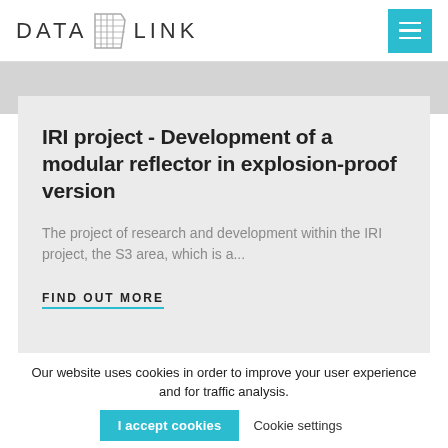DATA LINK
IRI project - Development of a modular reflector in explosion-proof version
The project of research and development within the IRI project, the S3 area, which is a...
FIND OUT MORE
Our website uses cookies in order to improve your user experience and for traffic analysis.
I accept cookies   Cookie settings